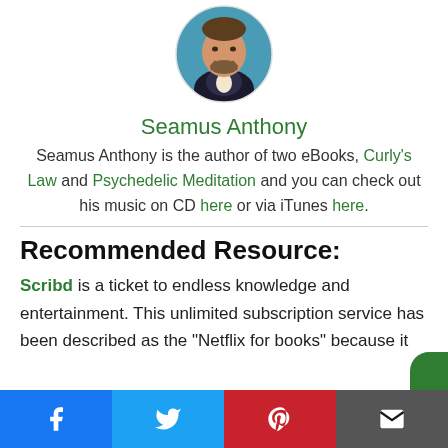[Figure (photo): Circular profile photo of Seamus Anthony, a smiling man in a dark blazer with a blurred blue/green background]
Seamus Anthony
Seamus Anthony is the author of two eBooks, Curly's Law and Psychedelic Meditation and you can check out his music on CD here or via iTunes here.
Recommended Resource:
Scribd is a ticket to endless knowledge and entertainment. This unlimited subscription service has been described as the "Netflix for books" because it